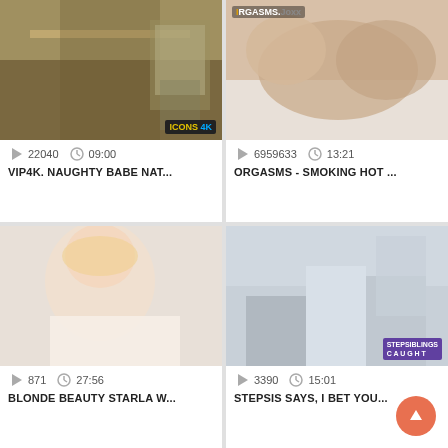[Figure (screenshot): Video thumbnail 1 - office scene]
22040  09:00
VIP4K. NAUGHTY BABE NAT...
[Figure (screenshot): Video thumbnail 2 - bedroom scene]
6959633  13:21
ORGASMS - SMOKING HOT ...
[Figure (screenshot): Video thumbnail 3 - blonde woman selfie]
871  27:56
BLONDE BEAUTY STARLA W...
[Figure (screenshot): Video thumbnail 4 - kitchen scene with StepSiblings Caught watermark]
3390  15:01
STEPSIS SAYS, I BET YOU...